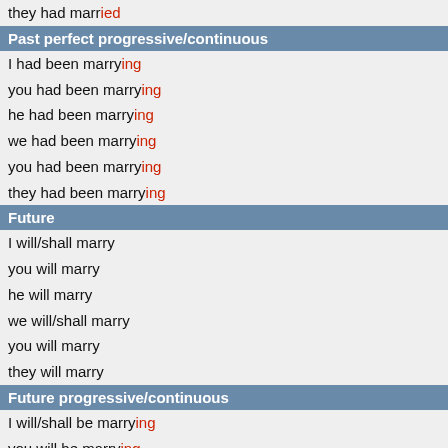they had married
Past perfect progressive/continuous
I had been marrying
you had been marrying
he had been marrying
we had been marrying
you had been marrying
they had been marrying
Future
I will/shall marry
you will marry
he will marry
we will/shall marry
you will marry
they will marry
Future progressive/continuous
I will/shall be marrying
you will be marrying
he will be marrying